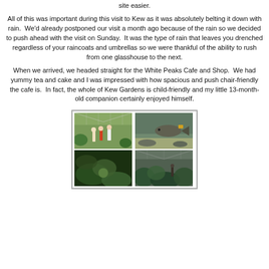site easier.
All of this was important during this visit to Kew as it was absolutely belting it down with rain.  We'd already postponed our visit a month ago because of the rain so we decided to push ahead with the visit on Sunday.  It was the type of rain that leaves you drenched regardless of your raincoats and umbrellas so we were thankful of the ability to rush from one glasshouse to the next.
When we arrived, we headed straight for the White Peaks Cafe and Shop.  We had yummy tea and cake and I was impressed with how spacious and push chair-friendly the cafe is.  In fact, the whole of Kew Gardens is child-friendly and my little 13-month-old companion certainly enjoyed himself.
[Figure (photo): A collage of four photos from Kew Gardens: top-left shows the interior of a greenhouse with visitors; top-right shows an underwater scene with a fish; bottom-left shows close-up green plants with a round fruit; bottom-right shows the interior of another greenhouse structure with lush vegetation.]